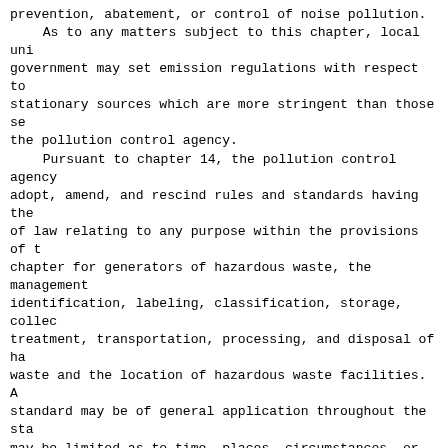prevention, abatement, or control of noise pollution.
      As to any matters subject to this chapter, local uni government may set emission regulations with respect to stationary sources which are more stringent than those se the pollution control agency.
      Pursuant to chapter 14, the pollution control agency adopt, amend, and rescind rules and standards having the of law relating to any purpose within the provisions of t chapter for generators of hazardous waste, the management identification, labeling, classification, storage, collec treatment, transportation, processing, and disposal of ha waste and the location of hazardous waste facilities.  A standard may be of general application throughout the sta may be limited as to time, places, circumstances, or cond In implementing its hazardous waste rules, the pollution agency shall give high priority to providing planning and technical assistance to hazardous waste generators.  The shall assist generators in investigating the availability feasibility of both interim and long term hazardous waste management methods.  The methods shall include waste redu waste separation, waste processing, resource recovery, an temporary storage.
      The pollution control agency shall give highest prior the consideration of permits to authorize disposal of dis shade trees by open burning at designated sites to eviden